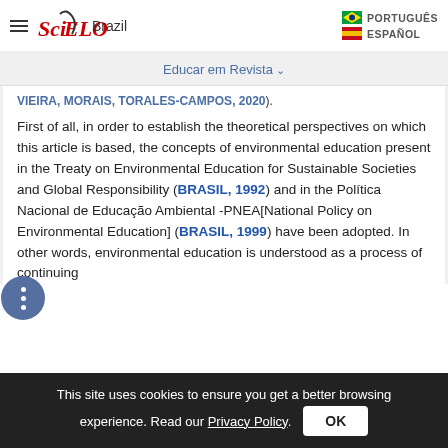SciELO Brazil | PORTUGUÊS | ESPAÑOL
Educar em Revista
VIEIRA, MORAIS, TORALES-CAMPOS, 2020).
First of all, in order to establish the theoretical perspectives on which this article is based, the concepts of environmental education present in the Treaty on Environmental Education for Sustainable Societies and Global Responsibility (BRASIL, 1992) and in the Política Nacional de Educação Ambiental -PNEA[National Policy on Environmental Education] (BRASIL, 1999) have been adopted. In other words, environmental education is understood as a process of continuing
This site uses cookies to ensure you get a better browsing experience. Read our Privacy Policy.